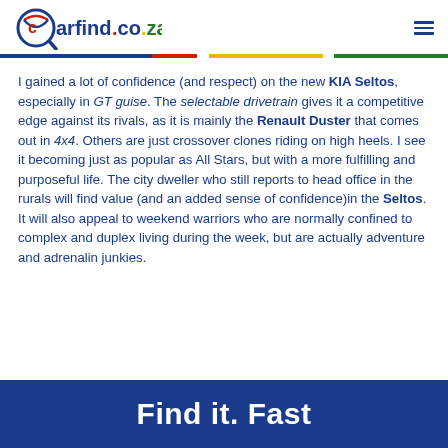carfind.co.za
I gained a lot of confidence (and respect) on the new KIA Seltos, especially in GT guise. The selectable drivetrain gives it a competitive edge against its rivals, as it is mainly the Renault Duster that comes out in 4x4. Others are just crossover clones riding on high heels. I see it becoming just as popular as All Stars, but with a more fulfilling and purposeful life. The city dweller who still reports to head office in the rurals will find value (and an added sense of confidence)in the Seltos. It will also appeal to weekend warriors who are normally confined to complex and duplex living during the week, but are actually adventure and adrenalin junkies.
Find it. Fast